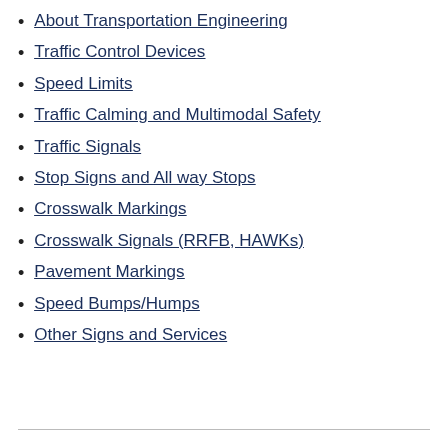About Transportation Engineering
Traffic Control Devices
Speed Limits
Traffic Calming and Multimodal Safety
Traffic Signals
Stop Signs and All way Stops
Crosswalk Markings
Crosswalk Signals (RRFB, HAWKs)
Pavement Markings
Speed Bumps/Humps
Other Signs and Services